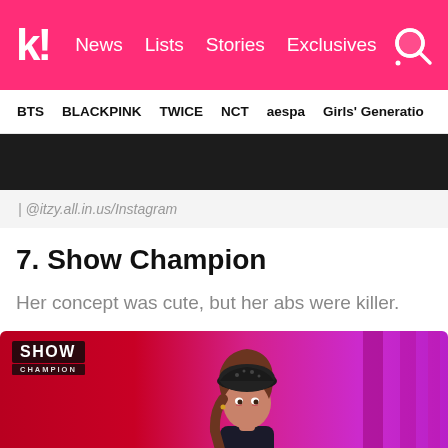k! News Lists Stories Exclusives
BTS BLACKPINK TWICE NCT aespa Girls' Generation
[Figure (photo): Dark top portion of an image, partially cut off]
| @itzy.all.in.us/Instagram
7. Show Champion
Her concept was cute, but her abs were killer.
[Figure (photo): Show Champion performance photo: female K-pop performer wearing a black beret with embellishments, brown hair, performing on stage with pink/magenta lighting and red backdrop. Show Champion logo visible in upper left.]